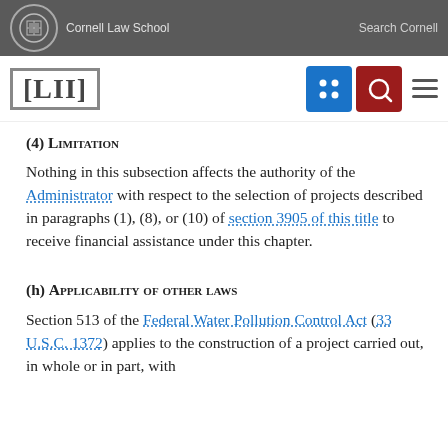Cornell Law School | Search Cornell
[Figure (logo): LII Legal Information Institute logo with navigation icons]
(4) Limitation
Nothing in this subsection affects the authority of the Administrator with respect to the selection of projects described in paragraphs (1), (8), or (10) of section 3905 of this title to receive financial assistance under this chapter.
(h) Applicability of other laws
Section 513 of the Federal Water Pollution Control Act (33 U.S.C. 1372) applies to the construction of a project carried out, in whole or in part, with